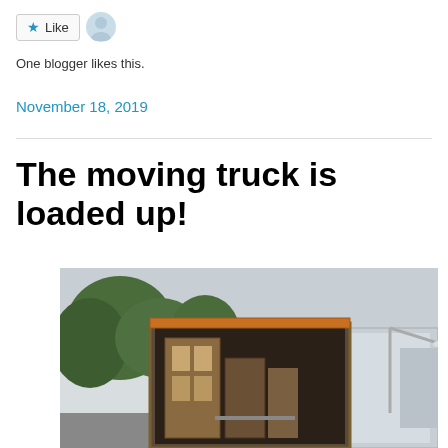[Figure (other): Like button with star icon and blogger avatar]
One blogger likes this.
November 18, 2019
The moving truck is loaded up!
[Figure (photo): Photo of the back of an open moving truck loaded with furniture, trees and a street lamp visible in the background]